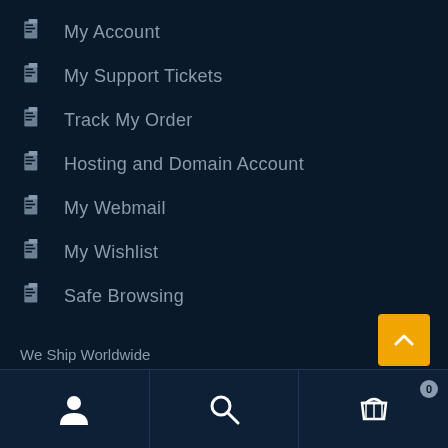My Account
My Support Tickets
Track My Order
Hosting and Domain Account
My Webmail
My Wishlist
Safe Browsing
We Ship Worldwide
[Figure (logo): Shipping carrier logos: FedEx, UPS, DHL, USPS]
[Figure (infographic): Scroll to top button with upward chevron]
[Figure (infographic): Bottom navigation bar with user icon, search icon, and shopping cart icon with badge showing 0]